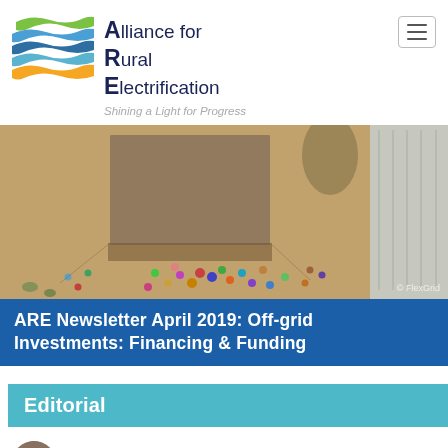[Figure (logo): Alliance for Rural Electrification logo with colored wave stripes (green, blue, orange/gold) and organization name and tagline 'Shining a Light for Progress']
[Figure (photo): Aerial view of an African village scene with people gathered outside mud/brick buildings on sandy ground. Photo credit: FlexGrid]
ARE Newsletter April 2019: Off-grid Investments: Financing & Funding
Editorial
[Figure (photo): Circular avatar photo of a person, partially visible at bottom of page]